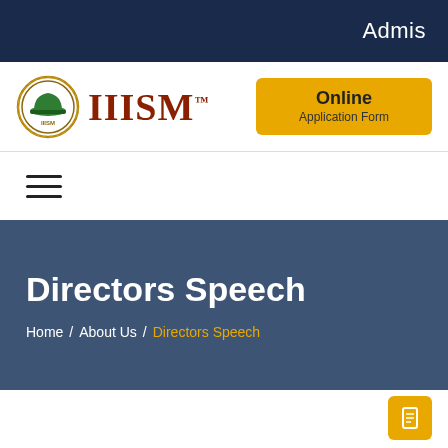Admis
[Figure (logo): IIISM institution logo with gear and hard hat emblem]
IIISM™
Online
Application Form
[Figure (other): Hamburger menu icon (three horizontal lines)]
Directors Speech
Home / About Us / Directors Speech
[Figure (other): Yellow floating action button with document/page icon]